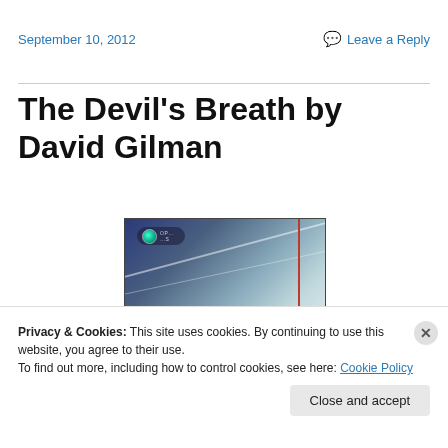September 10, 2012
Leave a Reply
The Devil's Breath by David Gilman
[Figure (screenshot): Screenshot of a video or webpage showing a globe/news logo in a dark blue and light grey stylized background with a red vertical line on the right side]
Privacy & Cookies: This site uses cookies. By continuing to use this website, you agree to their use.
To find out more, including how to control cookies, see here: Cookie Policy
Close and accept